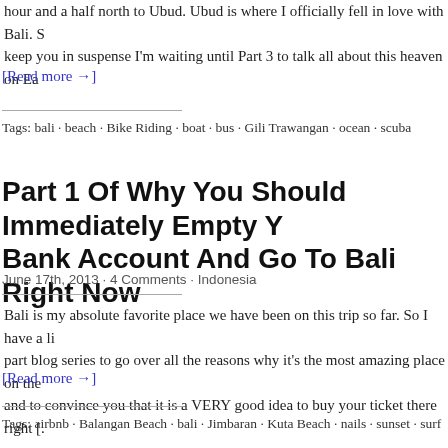hour and a half north to Ubud. Ubud is where I officially fell in love with Bali. S keep you in suspense I'm waiting until Part 3 to talk all about this heaven on Ea
[Read more →]
Tags: bali · beach · Bike Riding · boat · bus · Gili Trawangan · ocean · scuba
Part 1 Of Why You Should Immediately Empty Y Bank Account And Go To Bali Right Now
June 17th, 2013 · 4 Comments · Indonesia
Bali is my absolute favorite place we have been on this trip so far. So I have a li part blog series to go over all the reasons why it's the most amazing place on the and to convince you that it is a VERY good idea to buy your ticket there right [.
[Read more →]
Tags: airbnb · Balangan Beach · bali · Jimbaran · Kuta Beach · nails · sunset · surf